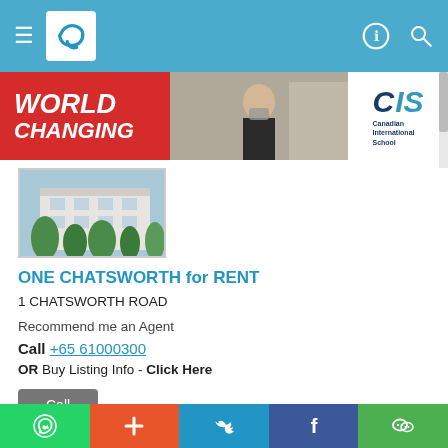Navigation bar with hamburger menu, logo, and icons
[Figure (illustration): CIS Canadian International School advertisement banner with red background, 'WORLD CHANGING' text, photo of masked teacher, and CIS logo]
[Figure (photo): Property exterior photo showing a multi-storey white building with palm trees in front]
ONE CHATSWORTH for RENT
1 CHATSWORTH ROAD
Recommend me an Agent
Call +65 61000300
OR Buy Listing Info - Click Here
Call
Listed on 11 Jul 22
Property Code: 6398915
Social sharing bar: WhatsApp, Plus, Twitter, Facebook, WeChat